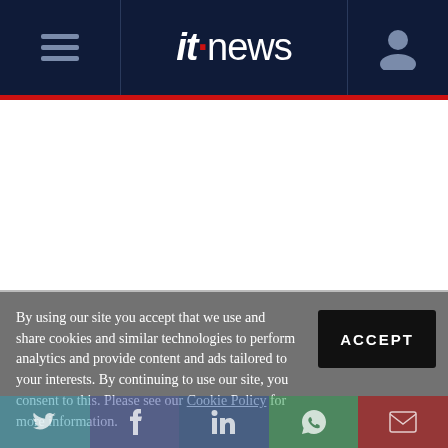itnews
[Figure (screenshot): White content/advertisement area below the itnews header navigation bar]
By using our site you accept that we use and share cookies and similar technologies to perform analytics and provide content and ads tailored to your interests. By continuing to use our site, you consent to this. Please see our Cookie Policy for more information.
Social share icons: Twitter, Facebook, LinkedIn, WhatsApp, Email